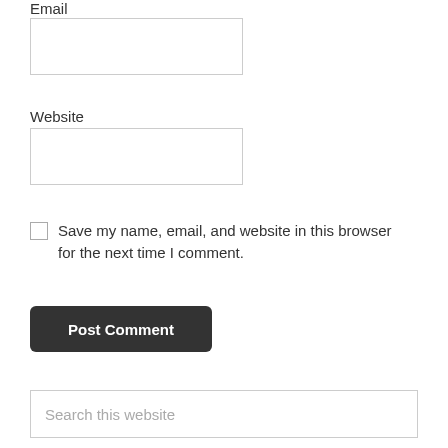Email
[Figure (other): Email text input field (empty)]
Website
[Figure (other): Website text input field (empty)]
Save my name, email, and website in this browser for the next time I comment.
[Figure (other): Post Comment button, dark background with white bold text]
[Figure (other): Search this website input field]